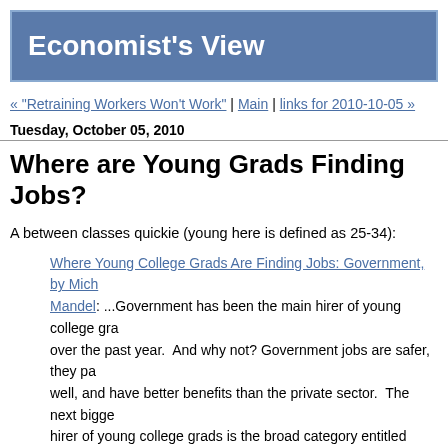Economist's View
« "Retraining Workers Won't Work" | Main | links for 2010-10-05 »
Tuesday, October 05, 2010
Where are Young Grads Finding Jobs?
A between classes quickie (young here is defined as 25-34):
Where Young College Grads Are Finding Jobs: Government, by Michael Mandel: ...Government has been the main hirer of young college grads over the past year.  And why not? Government jobs are safer, they pay well, and have better benefits than the private sector.  The next biggest hirer of young college grads is the broad category entitled professional technical services, which includes such  industries as law, accounting, computer systems design, and management consulting.  These industries as a whole have not been expanding, or expanding only slow–but they have been shifting towards better-educated workers.
Then comes the distressing category: Hotel and restaurants.  We he... and to that area as well, and chains of food to and along it...